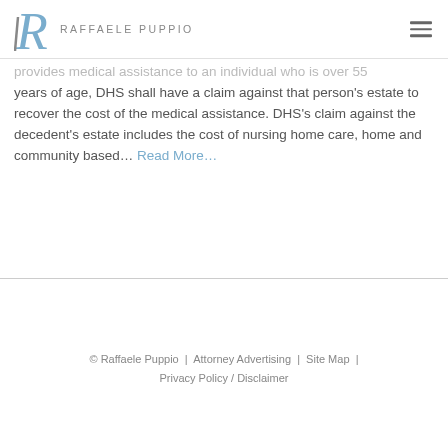Raffaele Puppio
provides medical assistance to an individual who is over 55 years of age, DHS shall have a claim against that person's estate to recover the cost of the medical assistance. DHS's claim against the decedent's estate includes the cost of nursing home care, home and community based... Read More...
© Raffaele Puppio | Attorney Advertising | Site Map | Privacy Policy / Disclaimer